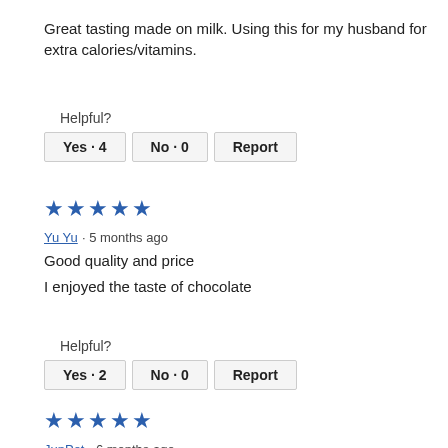Great tasting made on milk. Using this for my husband for extra calories/vitamins.
Helpful?
Yes · 4   No · 0   Report
[Figure (other): Five blue stars rating]
Yu Yu · 5 months ago
Good quality and price
I enjoyed the taste of chocolate
Helpful?
Yes · 2   No · 0   Report
[Figure (other): Five blue stars rating]
JunPot · 6 months ago
Good choice…